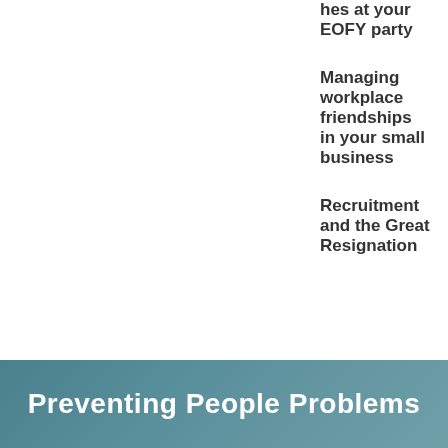hes at your EOFY party
Managing workplace friendships in your small business
Recruitment and the Great Resignation
Preventing People Problems